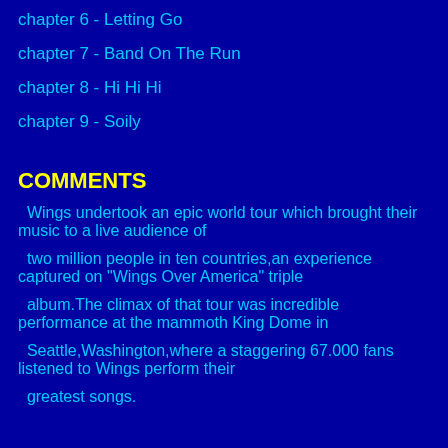chapter 6 - Letting Go
chapter 7 - Band On The Run
chapter 8 - Hi Hi Hi
chapter 9 - Soily
COMMENTS
Wings undertook an epic world tour which brought their music to a live audience of
two million people in ten countries,an experience captured on "Wings Over America" triple
album.The climax of that tour was incredible performance at the mammoth King Dome in
Seattle,Washington,where a staggering 67.000 fans listened to Wings perform their
greatest songs.